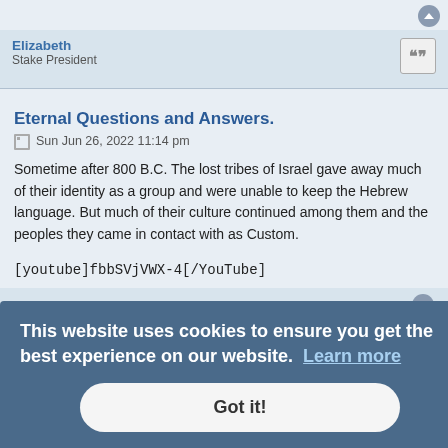Elizabeth
Stake President
Eternal Questions and Answers.
Sun Jun 26, 2022 11:14 pm
Sometime after 800 B.C. The lost tribes of Israel gave away much of their identity as a group and were unable to keep the Hebrew language. But much of their culture continued among them and the peoples they came in contact with as Custom.
[youtube]fbbSVjVWX-4[/YouTube]
[youtube]fbbSVjVWX-4[/youtube]
Elizabeth
Stake President
Eternal Questions and Answers.
Wed Jul 06, 2022 12:15 am
This website uses cookies to ensure you get the best experience on our website. Learn more
Got it!